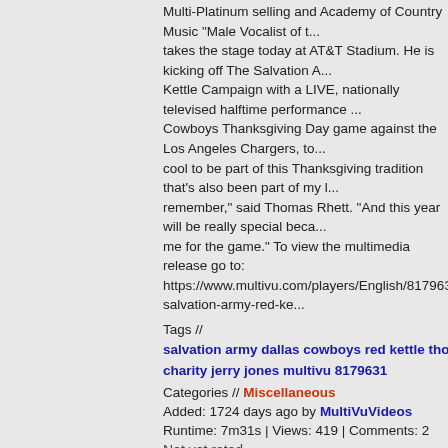Multi-Platinum selling and Academy of Country Music "Male Vocalist of the Year" takes the stage today at AT&T Stadium. He is kicking off The Salvation Army Red Kettle Campaign with a LIVE, nationally televised halftime performance during the Dallas Cowboys Thanksgiving Day game against the Los Angeles Chargers, to... "It's always cool to be part of this Thanksgiving tradition that's also been part of my life for as long as I can remember," said Thomas Rhett. "And this year will be really special because my family is joining me for the game." To view the multimedia release go to: https://www.multivu.com/players/English/8179631-salvation-army-red-ke...
Tags // salvation army dallas cowboys red kettle thomas rhett thanksgiving charity jerry jones multivu 8179631
Categories // Miscellaneous
Added: 1724 days ago by MultiVuVideos
Runtime: 7m31s | Views: 419 | Comments: 2
Not yet rated
[Figure (photo): Three video thumbnails side by side: first shows a man's face with dark beard against autumn background, second shows two people in front of Dallas Cowboys star logo and Salvation Army red shield logo outdoors, third shows same man's face again.]
Thomas Rhett Announces Halftime Performance
Academy of Country Music's Male Vocalist of the Year Thomas Rhett will take the stage at AT&T Stadium during the nationally televised halftime of the Dallas Cowboys game against the Los Angeles Chargers on Thanksgiving Day, kicking off The Salvation Army's iconic Red Kettle Campaign. Donations to the iconic campaign help provide shelter and meals for the homeless and hungry, and Christmas toys for millions of children, in addition to numerous other social service programs The Salvation Army provides year-round. To view the multimedia release go to: https://www.multivu.com/players/English/8179631-salvation-army-red-ke...
Tags // salvation army hungry charity 2017 red kettle help dona...